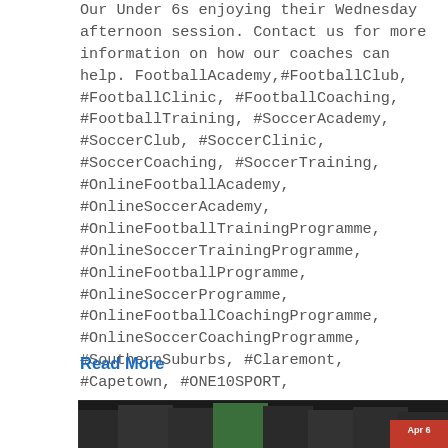Our Under 6s enjoying their Wednesday afternoon session. Contact us for more information on how our coaches can help. FootballAcademy,#FootballClub, #FootballClinic, #FootballCoaching, #FootballTraining, #SoccerAcademy, #SoccerClub, #SoccerClinic, #SoccerCoaching, #SoccerTraining, #OnlineFootballAcademy, #OnlineSoccerAcademy, #OnlineFootballTrainingProgramme, #OnlineSoccerTrainingProgramme, #OnlineFootballProgramme, #OnlineSoccerProgramme, #OnlineFootballCoachingProgramme, #OnlineSoccerCoachingProgramme, #SouthernSuburbs, #Claremont, #Capetown, #ONE10SPORT,
Read More
[Figure (photo): Group photo of young football players with medals and a trophy in front of a goal net, with a red date badge showing 'Apr 6' in the bottom right corner.]